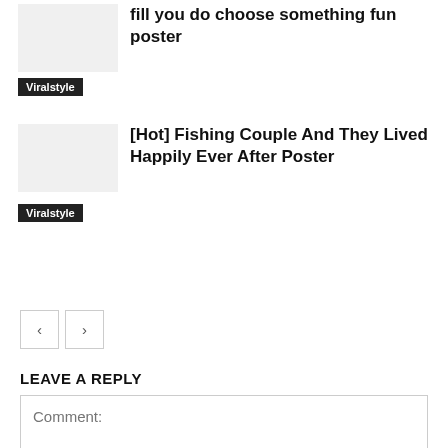fill you do choose something fun poster
Viralstyle
[Hot] Fishing Couple And They Lived Happily Ever After Poster
Viralstyle
LEAVE A REPLY
Comment: